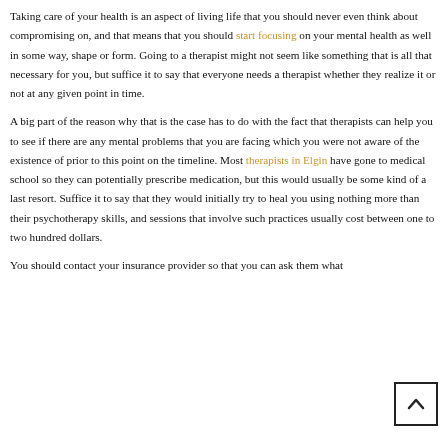Taking care of your health is an aspect of living life that you should never even think about compromising on, and that means that you should start focusing on your mental health as well in some way, shape or form. Going to a therapist might not seem like something that is all that necessary for you, but suffice it to say that everyone needs a therapist whether they realize it or not at any given point in time.

A big part of the reason why that is the case has to do with the fact that therapists can help you to see if there are any mental problems that you are facing which you were not aware of the existence of prior to this point on the timeline. Most therapists in Elgin have gone to medical school so they can potentially prescribe medication, but this would usually be some kind of a last resort. Suffice it to say that they would initially try to heal you using nothing more than their psychotherapy skills, and sessions that involve such practices usually cost between one to two hundred dollars.

You should contact your insurance provider so that you can ask them what